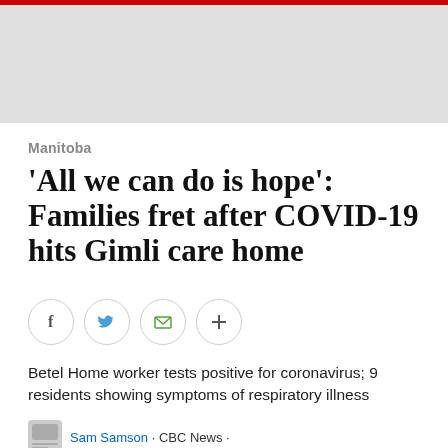Manitoba
'All we can do is hope': Families fret after COVID-19 hits Gimli care home
[Figure (infographic): Social sharing icons: Facebook, Twitter, Email, and a plus/more button, each in a circular outline button]
Betel Home worker tests positive for coronavirus; 9 residents showing symptoms of respiratory illness
Sam Samson · CBC News ·